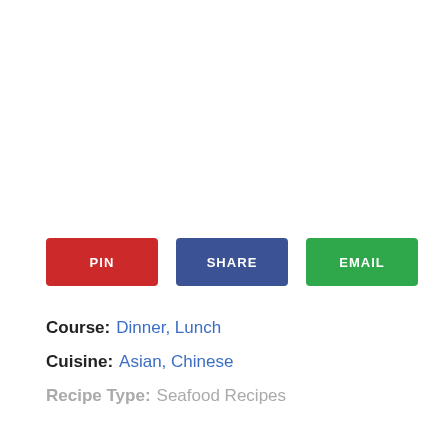[Figure (other): Three social sharing buttons: PIN (red), SHARE (blue), EMAIL (green)]
Course:  Dinner, Lunch
Cuisine:  Asian, Chinese
Recipe Type:  Seafood Recipes